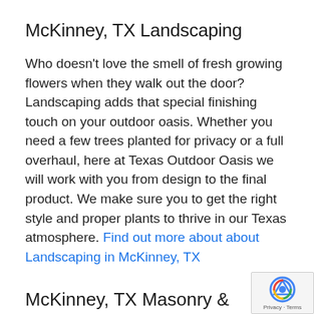McKinney, TX Landscaping
Who doesn’t love the smell of fresh growing flowers when they walk out the door? Landscaping adds that special finishing touch on your outdoor oasis. Whether you need a few trees planted for privacy or a full overhaul, here at Texas Outdoor Oasis we will work with you from design to the final product. We make sure you to get the right style and proper plants to thrive in our Texas atmosphere. Find out more about about Landscaping in McKinney, TX
McKinney, TX Masonry & Stone Wor…
We have access to all types of natural and…